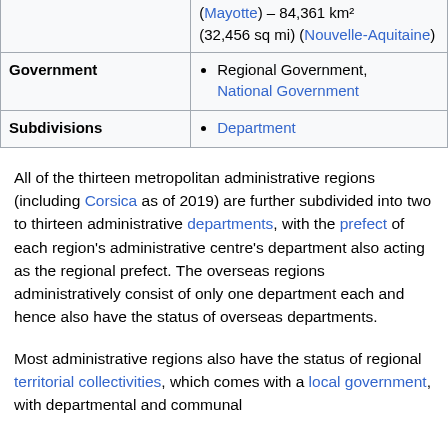|  | (Mayotte) – 84,361 km² (32,456 sq mi) (Nouvelle-Aquitaine) |
| Government | Regional Government, National Government |
| Subdivisions | Department |
All of the thirteen metropolitan administrative regions (including Corsica as of 2019) are further subdivided into two to thirteen administrative departments, with the prefect of each region's administrative centre's department also acting as the regional prefect. The overseas regions administratively consist of only one department each and hence also have the status of overseas departments.
Most administrative regions also have the status of regional territorial collectivities, which comes with a local government, with departmental and communal